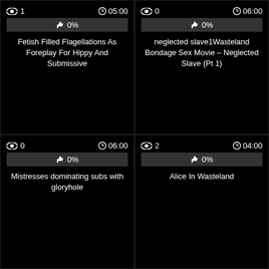👁 1   🕐05:00
👍 0%
Fetish Filled Flagellations As Foreplay For Hippy And Submissive
👁 0   🕐06:00
👍 0%
neglected slave1Wasteland Bondage Sex Movie – Neglected Slave (Pt 1)
👁 0   🕐06:00
👍 0%
Mistresses dominating subs with gloryhole
👁 2   🕐04:00
👍 0%
Alice In Wasteland